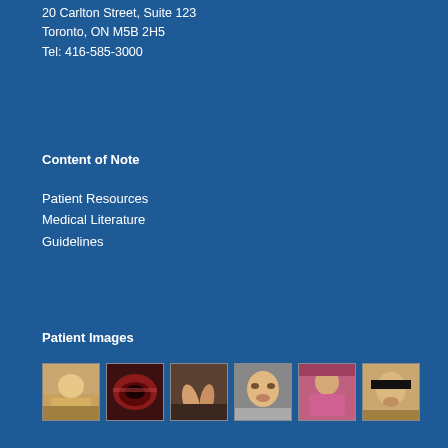20 Carlton Street, Suite 123
Toronto, ON M5B 2H5
Tel: 416-585-3000
Content of Note
Patient Resources
Medical Literature
Guidelines
Patient Images
[Figure (photo): Six small thumbnail medical patient images arranged in a horizontal row on a blue background]